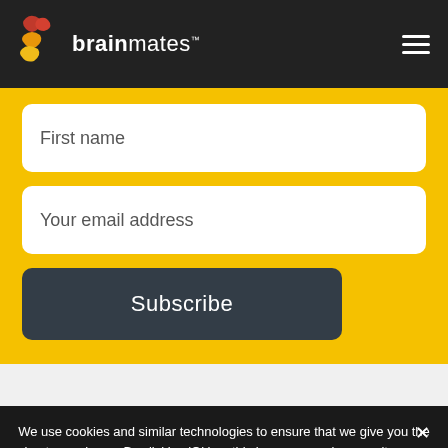brainmates
[Figure (screenshot): Form with First name and Your email address input fields and a Subscribe button on a yellow background]
We use cookies and similar technologies to ensure that we give you the best experience. By clicking 'Ok' on this banner, or using our site, you consent to the use of cookies unless you have disabled them.
Ok   Privacy policy